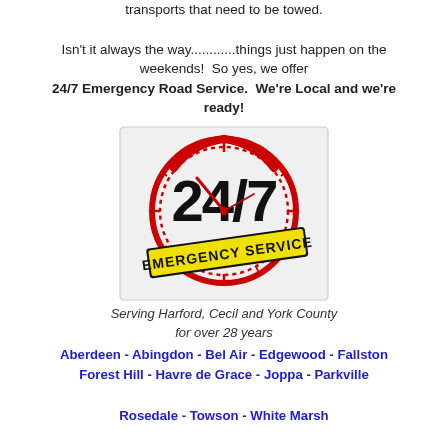transports that need to be towed.
Isn't it always the way............things just happen on the weekends!  So yes, we offer 24/7 Emergency Road Service.  We're Local and we're ready!
[Figure (logo): 24/7 Emergency Service badge logo with red circular clock design and yellow banner reading EMERGENCY SERVICE]
Serving Harford, Cecil and York County for over 28 years
Aberdeen - Abingdon - Bel Air - Edgewood - Fallston Forest Hill - Havre de Grace - Joppa - Parkville Rosedale - Towson - White Marsh